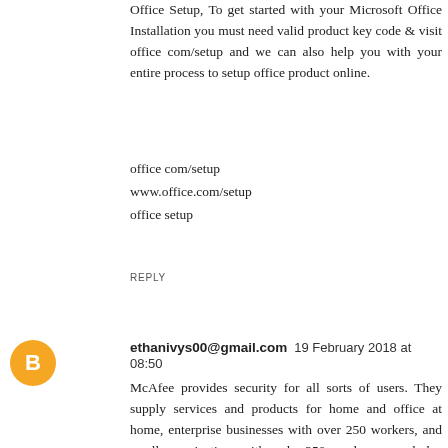Office Setup, To get started with your Microsoft Office Installation you must need valid product key code & visit office com/setup and we can also help you with your entire process to setup office product online.
office com/setup
www.office.com/setup
office setup
REPLY
ethanivys00@gmail.com  19 February 2018 at 08:50
McAfee provides security for all sorts of users. They supply services and products for home and office at home, enterprise businesses with over 250 workers, and small organizations with under 250 employees, and also venture opportunities.
mcafee.com activate
mcafee com activate
mcafee activate
REPLY